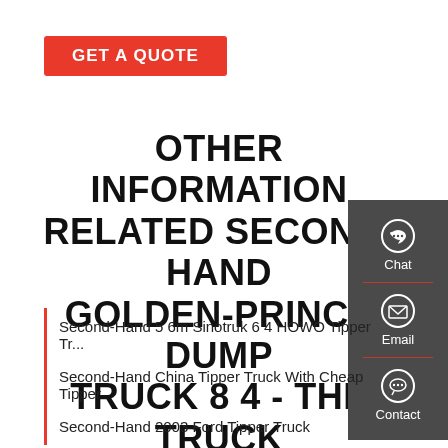GET A QUOTE
OTHER INFORMATION RELATED SECOND-HAND GOLDEN-PRINCE DUMP TRUCK 8 4 - THE TRUCK SUPPLIER
[Figure (infographic): Dark grey sidebar panel with Chat, Email, and Contact icons and labels, separated by red dividers]
Second-Hand 5 6m Sinotruk 6 4 HOWO Tipper Tr...
Second-Hand China Tipper Truck With Cheap Tipper
Second-Hand 2003 Ford Tipper Truck